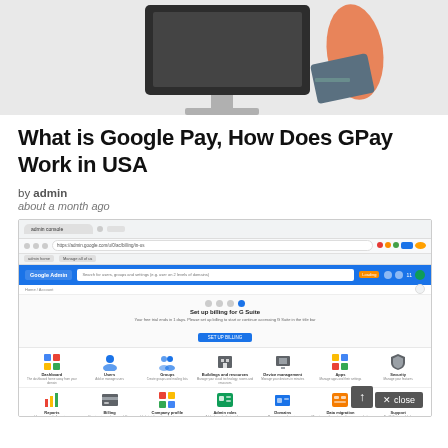[Figure (illustration): Hero illustration showing a hand inserting a card into a computer monitor/payment terminal on a grey background]
What is Google Pay, How Does GPay Work in USA
by admin
about a month ago
[Figure (screenshot): Screenshot of Google Admin console setup page showing the admin bar, setup billing for G Suite wizard, and icon grid with Dashboard, Users, Groups, Buildings and resources, Device management, Apps, Security, Reports, Billing, Company profile, Admin roles, Domains, Data migration, Support icons]